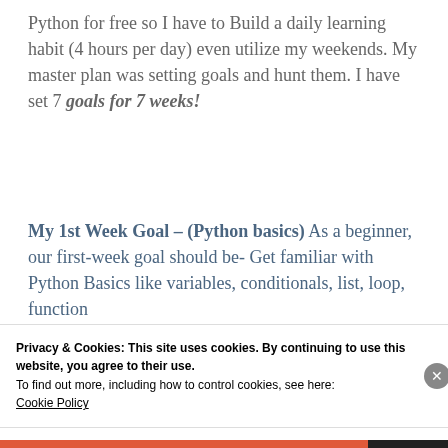Python for free so I have to Build a daily learning habit (4 hours per day) even utilize my weekends. My master plan was setting goals and hunt them. I have set 7 goals for 7 weeks!
My 1st Week Goal – (Python basics) As a beginner, our first-week goal should be- Get familiar with Python Basics like variables, conditionals, list, loop, function
Privacy & Cookies: This site uses cookies. By continuing to use this website, you agree to their use.
To find out more, including how to control cookies, see here:
Cookie Policy
Close and accept